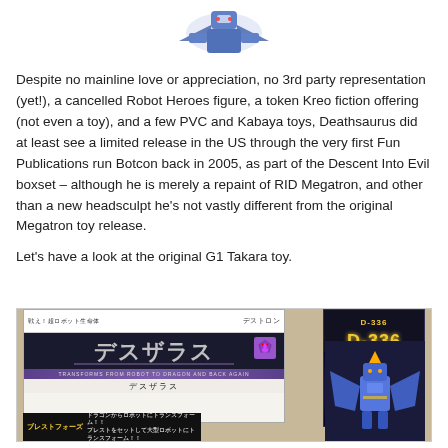[Figure (photo): Partial image of a blue Transformers robot toy figure at the top of the page]
Despite no mainline love or appreciation, no 3rd party representation (yet!), a cancelled Robot Heroes figure, a token Kreo fiction offering (not even a toy), and a few PVC and Kabaya toys, Deathsaurus did at least see a limited release in the US through the very first Fun Publications run Botcon back in 2005, as part of the Descent Into Evil boxset – although he is merely a repaint of RID Megatron, and other than a new headsculpt he's not vastly different from the original Megatron toy release.
Let's have a look at the original G1 Takara toy.
[Figure (photo): Photo of the original G1 Takara Deathsaurus toy box packaging in Japanese, showing the Breast Force logo, D-336 product number, Japanese text, Decepticon logo, and robot figure art]